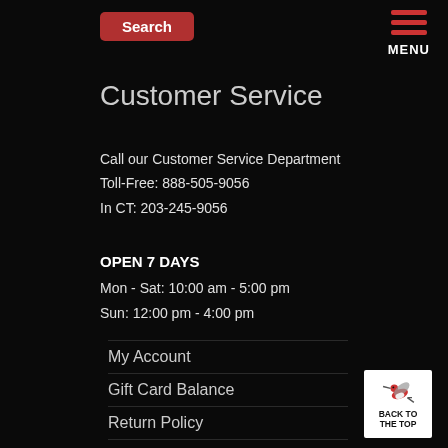Search | MENU
Customer Service
Call our Customer Service Department
Toll-Free: 888-505-9056
In CT: 203-245-9056
OPEN 7 DAYS
Mon - Sat: 10:00 am - 5:00 pm
Sun: 12:00 pm - 4:00 pm
My Account
Gift Card Balance
Return Policy
Shipping Policy
Privacy Policy
[Figure (illustration): Hummingbird logo with BACK TO THE TOP label]